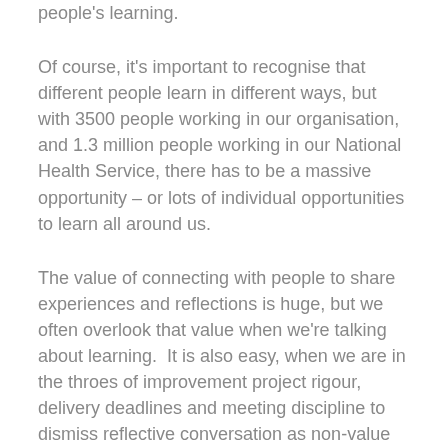people's learning.
Of course, it's important to recognise that different people learn in different ways, but with 3500 people working in our organisation, and 1.3 million people working in our National Health Service, there has to be a massive opportunity – or lots of individual opportunities to learn all around us.
The value of connecting with people to share experiences and reflections is huge, but we often overlook that value when we're talking about learning.  It is also easy, when we are in the throes of improvement project rigour, delivery deadlines and meeting discipline to dismiss reflective conversation as non-value added activity.